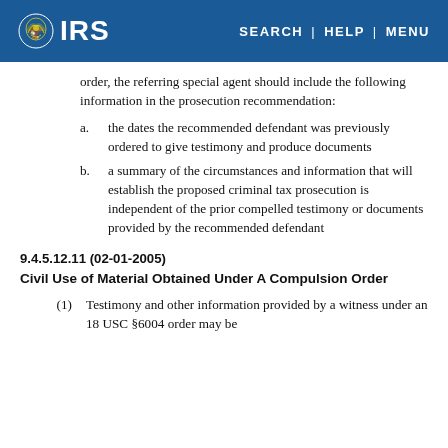IRS | SEARCH | HELP | MENU
order, the referring special agent should include the following information in the prosecution recommendation:
a. the dates the recommended defendant was previously ordered to give testimony and produce documents
b. a summary of the circumstances and information that will establish the proposed criminal tax prosecution is independent of the prior compelled testimony or documents provided by the recommended defendant
9.4.5.12.11 (02-01-2005)
Civil Use of Material Obtained Under A Compulsion Order
(1) Testimony and other information provided by a witness under an 18 USC §6004 order may be